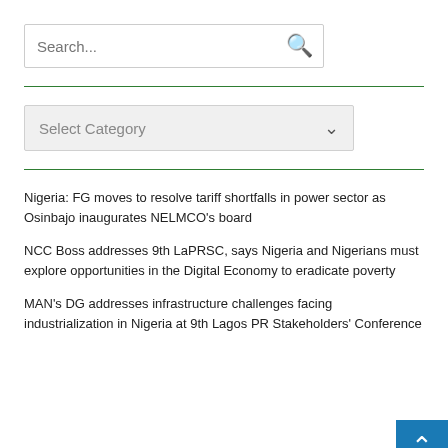[Figure (screenshot): Search input box with green search icon on the right]
[Figure (screenshot): Select Category dropdown menu]
Nigeria: FG moves to resolve tariff shortfalls in power sector as Osinbajo inaugurates NELMCO's board
NCC Boss addresses 9th LaPRSC, says Nigeria and Nigerians must explore opportunities in the Digital Economy to eradicate poverty
MAN's DG addresses infrastructure challenges facing industrialization in Nigeria at 9th Lagos PR Stakeholders' Conference